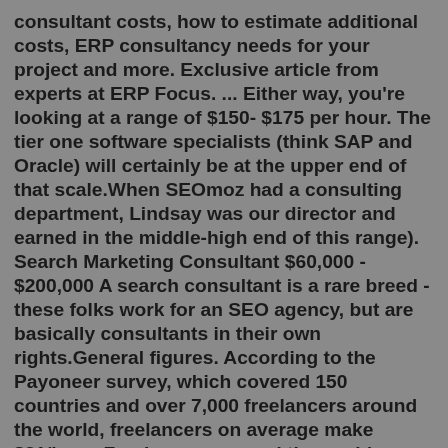consultant costs, how to estimate additional costs, ERP consultancy needs for your project and more. Exclusive article from experts at ERP Focus. ... Either way, you're looking at a range of $150- $175 per hour. The tier one software specialists (think SAP and Oracle) will certainly be at the upper end of that scale.When SEOmoz had a consulting department, Lindsay was our director and earned in the middle-high end of this range). Search Marketing Consultant $60,000 - $200,000 A search consultant is a rare breed - these folks work for an SEO agency, but are basically consultants in their own rights.General figures. According to the Payoneer survey, which covered 150 countries and over 7,000 freelancers around the world, freelancers on average make $21/hour. Freelancers around the world charge the following hourly rates: up to $5 - 16%. $6-$10 - with 24%, most freelancer fall under this category. $11-$15 - 17%. $16-$20 - 13%. It's very easy to see in Facebook reports whether the agency or consultant